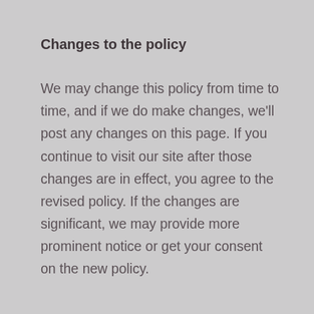Changes to the policy
We may change this policy from time to time, and if we do make changes, we'll post any changes on this page. If you continue to visit our site after those changes are in effect, you agree to the revised policy. If the changes are significant, we may provide more prominent notice or get your consent on the new policy.